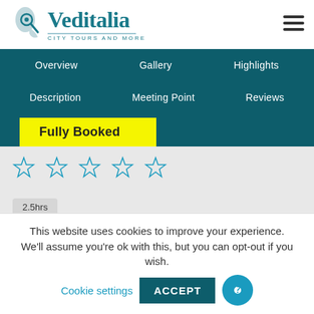[Figure (logo): Veditalia logo with map/pin icon and tagline 'CITY TOURS AND MORE']
Overview | Gallery | Highlights | Description | Meeting Point | Reviews
Fully Booked
[Figure (other): Five star rating icons (outline style)]
2.5hrs
This website uses cookies to improve your experience. We'll assume you're ok with this, but you can opt-out if you wish.
Cookie settings  ACCEPT